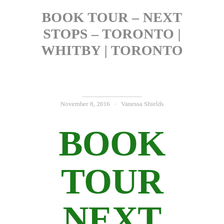BOOK TOUR – NEXT STOPS – TORONTO | WHITBY | TORONTO
November 8, 2016 · Vanessa Shields
BOOK TOUR NEXT STOPS TORONTO |